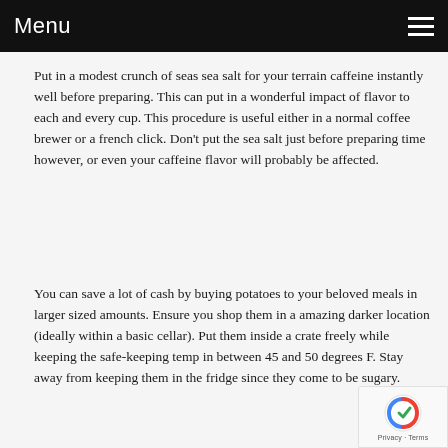Menu
Put in a modest crunch of seas sea salt for your terrain caffeine instantly well before preparing. This can put in a wonderful impact of flavor to each and every cup. This procedure is useful either in a normal coffee brewer or a french click. Don't put the sea salt just before preparing time however, or even your caffeine flavor will probably be affected.
You can save a lot of cash by buying potatoes to your beloved meals in larger sized amounts. Ensure you shop them in a amazing darker location (ideally within a basic cellar). Put them inside a crate freely while keeping the safe-keeping temp in between 45 and 50 degrees F. Stay away from keeping them in the fridge since they come to be sugary.